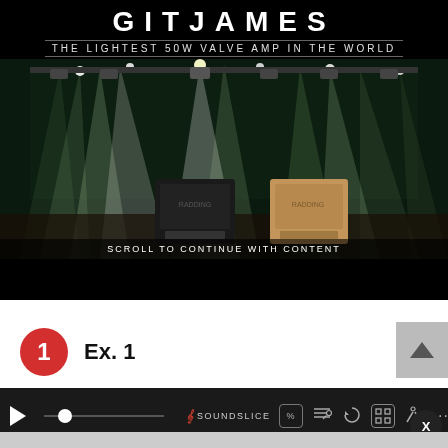[Figure (photo): Advertisement for guitar amplifier. Black background with large stylized text 'GITJAMES' at top, subtitle 'THE LIGHTEST 50W VALVE AMP IN THE WORLD', and a stage photo showing two guitar amplifiers (one black, one beige/tweed) on a concert stage with dramatic green/white stage lighting. Text at bottom: 'SCROLL TO CONTINUE WITH CONTENT'.]
Ex. 1
[Figure (screenshot): Soundslice audio player bar with play button, scrubber, Soundslice logo, and playback control icons including percentage, sheet music, loop, fullscreen, metronome, and more buttons.]
X